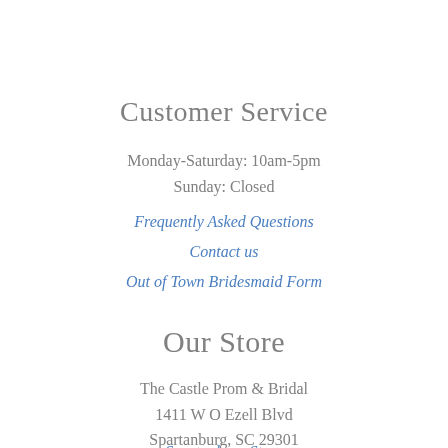Customer Service
Monday-Saturday: 10am-5pm
Sunday: Closed
Frequently Asked Questions
Contact us
Out of Town Bridesmaid Form
Our Store
The Castle Prom & Bridal
1411 W O Ezell Blvd
Spartanburg, SC 29301
Spartanburg Store